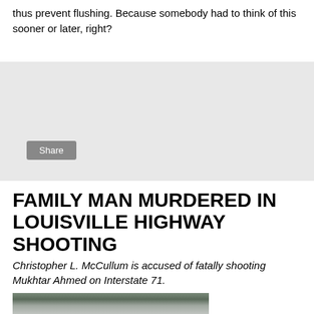thus prevent flushing. Because somebody had to think of this sooner or later, right?
[Figure (other): Social media share widget box with a Share button]
FAMILY MAN MURDERED IN LOUISVILLE HIGHWAY SHOOTING
Christopher L. McCullum is accused of fatally shooting Mukhtar Ahmed on Interstate 71.
[Figure (photo): Aerial photograph of Interstate 71 highway scene with cars and people on road, with an inset portrait photo of a man]